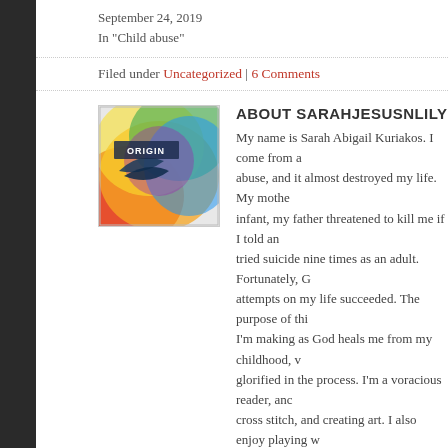September 24, 2019
In "Child abuse"
Filed under Uncategorized | 6 Comments
[Figure (illustration): Colorful abstract book cover with the word ORIGIN visible, featuring rainbow-colored swirling shapes]
ABOUT SARAHJESUSNLILY
My name is Sarah Abigail Kuriakos. I come from a background of abuse, and it almost destroyed my life. My mother abused me as an infant, my father threatened to kill me if I told anyone, and I tried suicide nine times as an adult. Fortunately, God didn't let the attempts on my life succeeded. The purpose of this blog is to journal I'm making as God heals me from my childhood, w glorified in the process. I'm a voracious reader, and I enjoy cross stitch, and creating art. I also enjoy playing w Christian music, and watching movies. My favorite books are the Holy Bible, then Jane Eyre, David Copperfield, Th Kill a Mockingbird. I also love Christian apologetics life is knowing and serving Jesus Christ, and telling them. People need to know that God loves them!